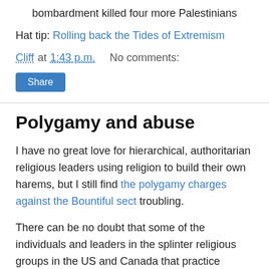bombardment killed four more Palestinians
Hat tip: Rolling back the Tides of Extremism
Cliff at 1:43 p.m.    No comments:
Share
Polygamy and abuse
I have no great love for hierarchical, authoritarian religious leaders using religion to build their own harems, but I still find the polygamy charges against the Bountiful sect troubling.
There can be no doubt that some of the individuals and leaders in the splinter religious groups in the US and Canada that practice 'celestial marriage' have engaged in unambiguously illegal and morally reprehensible behaviour involving minors. Both young girls compelled into relationships with much older men and young boys driven